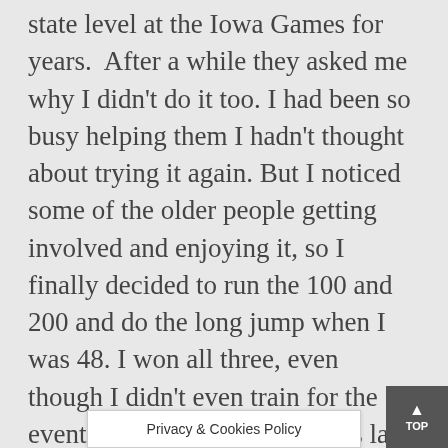state level at the Iowa Games for years.  After a while they asked me why I didn't do it too. I had been so busy helping them I hadn't thought about trying it again. But I noticed some of the older people getting involved and enjoying it, so I finally decided to run the 100 and 200 and do the long jump when I was 48. I won all three, even though I didn't even train for the events.  Then, about three days later I dropped my car keys in the store and I couldn't even bend over to get them.  A little old lady picked them up for me. (laughs) The next year I started training a month ahead.  Since then I haven't stopped working out and tr...ant to
Privacy & Cookies Policy